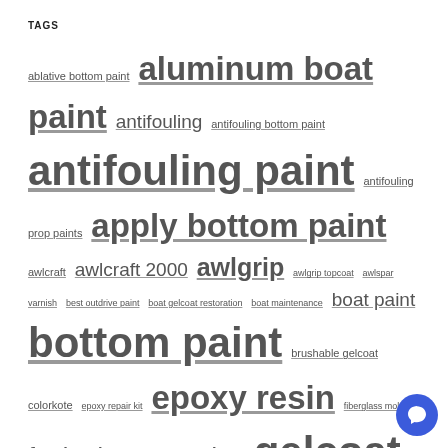TAGS
ablative bottom paint aluminum boat paint antifouling antifouling bottom paint antifouling paint antifouling prop paints apply bottom paint awlcraft awlcraft 2000 awlgrip awlgrip topcoat awlspar varnish best outdrive paint boat gelcoat restoration boat maintenance boat paint bottom paint brushable gelcoat colorkote epoxy repair kit epoxy resin fiberglass mold foul release coating gelcoat gelcoat putty gelcoat restoration hard bottom paint Hawk Epoxy hawk epoxy kit hawk epoxy resin hawk filler how to apply bottom paint is bottom paint primer needed Liquid Urethane Foam Kit polyester resin propglide propspeed propspeed alternative repair restore teak furniture sea hawk epoxy teak oil sealer topside boat paint Topside Paint using pva mold release
[Figure (illustration): Blue circular chat bubble icon in bottom right corner]